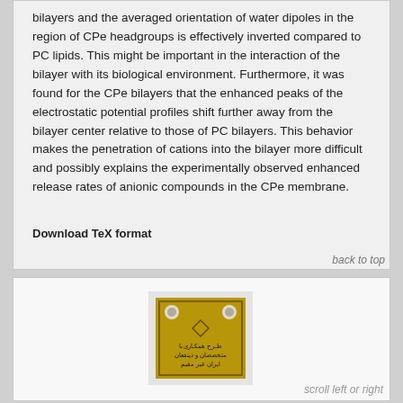bilayers and the averaged orientation of water dipoles in the region of CPe headgroups is effectively inverted compared to PC lipids. This might be important in the interaction of the bilayer with its biological environment. Furthermore, it was found for the CPe bilayers that the enhanced peaks of the electrostatic potential profiles shift further away from the bilayer center relative to those of PC bilayers. This behavior makes the penetration of cations into the bilayer more difficult and possibly explains the experimentally observed enhanced release rates of anionic compounds in the CPe membrane.
Download TeX format
back to top
[Figure (other): Advertisement image with golden/olive background, decorative border and Persian/Arabic text. Small institutional logo icons at top.]
scroll left or right